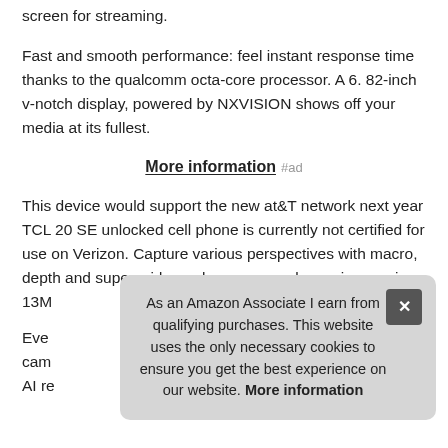screen for streaming.
Fast and smooth performance: feel instant response time thanks to the qualcomm octa-core processor. A 6. 82-inch v-notch display, powered by NXVISION shows off your media at its fullest.
More information #ad
This device would support the new at&T network next year TCL 20 SE unlocked cell phone is currently not certified for use on Verizon. Capture various perspectives with macro, depth and super-wide-angle cameras, plus an impressive 13M
Eve cam AI re
As an Amazon Associate I earn from qualifying purchases. This website uses the only necessary cookies to ensure you get the best experience on our website. More information